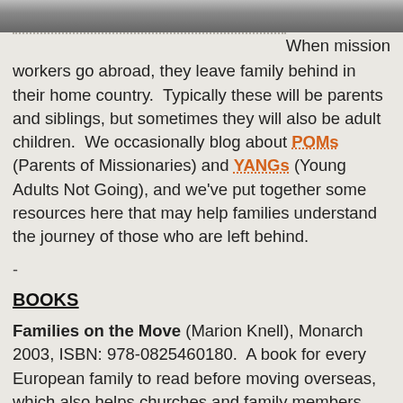[Figure (photo): A cropped photo strip showing people, partially visible at the top of the page.]
When mission workers go abroad, they leave family behind in their home country. Typically these will be parents and siblings, but sometimes they will also be adult children. We occasionally blog about POMs (Parents of Missionaries) and YANGs (Young Adults Not Going), and we've put together some resources here that may help families understand the journey of those who are left behind.
-
BOOKS
Families on the Move (Marion Knell), Monarch 2003, ISBN: 978-0825460180. A book for every European family to read before moving overseas, which also helps churches and family members appreciate what it